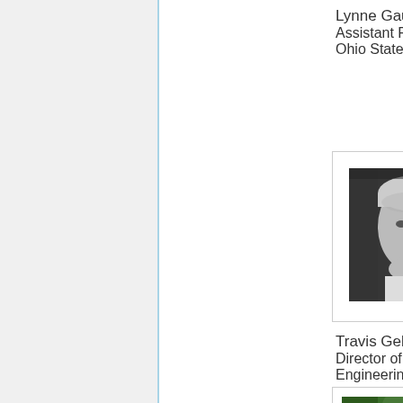Lynne Gauthier
Assistant Professor,
Ohio State University
[Figure (photo): Black and white headshot photo of a young man with light hair, smiling slightly]
Travis Gebhardt
Director of Engineering, KAYAK
[Figure (photo): Color photo of a man in a dark suit with a red tie, standing in front of green foliage, smiling]